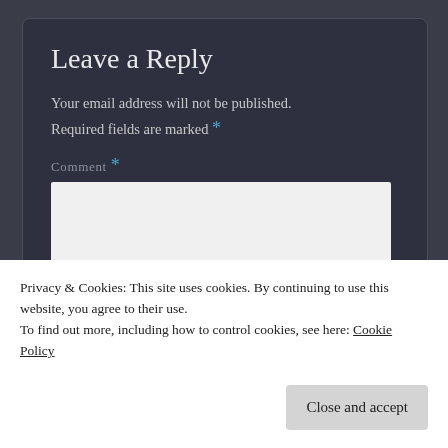Leave a Reply
Your email address will not be published. Required fields are marked *
Comment *
Name *
Privacy & Cookies: This site uses cookies. By continuing to use this website, you agree to their use.
To find out more, including how to control cookies, see here: Cookie Policy
Close and accept